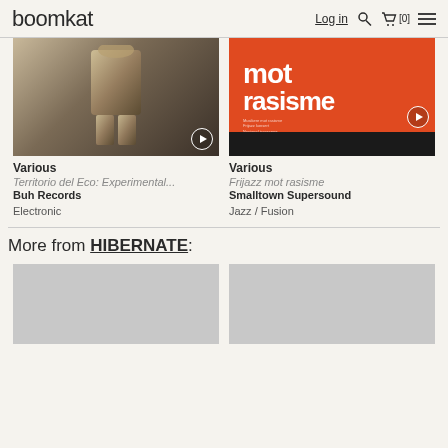boomkat  Log in  [0]
[Figure (photo): Album artwork for Territorio del Eco - a sculptural paper figure on dark background]
[Figure (photo): Album artwork for Frijazz mot rasisme - orange/red cover with bold white text reading 'mot rasisme', dark band at bottom]
Various
Territorio del Eco: Experimental...
Buh Records

Electronic
Various
Frijazz mot rasisme
Smalltown Supersound

Jazz / Fusion
More from HIBERNATE:
[Figure (photo): Placeholder grey image for Hibernate release]
[Figure (photo): Placeholder grey image for Hibernate release]